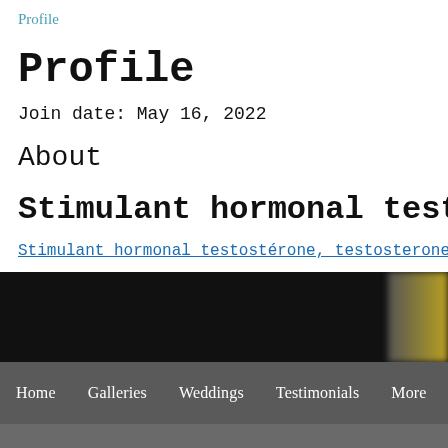Profile
Profile
Join date: May 16, 2022
About
Stimulant hormonal testostérone, testost
Stimulant hormonal testostérone, testosterone cypionate subcutaneo
[Figure (photo): Partially visible dark image with blurred yellowish content on the right edge]
Home   Galleries   Weddings   Testimonials   More